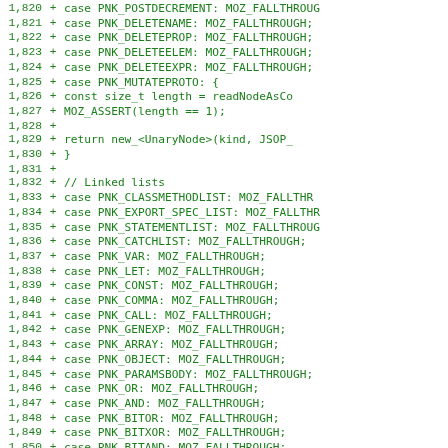[Figure (screenshot): Code diff screenshot showing C++ switch-case statements with MOZ_FALLTHROUGH macros, lines 1820-1851, green text on white background]